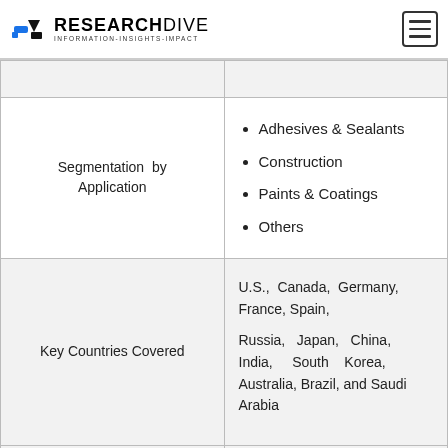RESEARCH DIVE — INFORMATION-INSIGHTS-IMPACT
| Category | Details |
| --- | --- |
| Segmentation by Application | Adhesives & Sealants; Construction; Paints & Coatings; Others |
| Key Countries Covered | U.S., Canada, Germany, France, Spain, Russia, Japan, China, India, South Korea, Australia, Brazil, and Saudi Arabia |